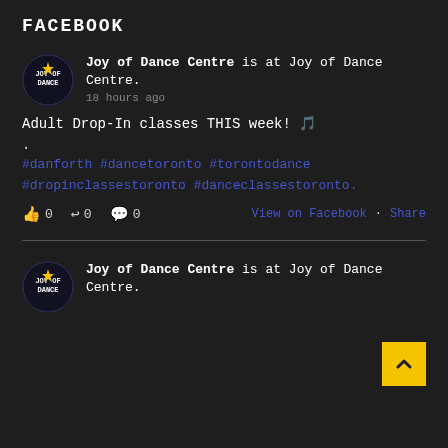FACEBOOK
Joy of Dance Centre is at Joy of Dance Centre.
18 hours ago
Adult Drop-In classes THIS week! 🎵
.
#danforth #dancetoronto #torontodance #dropinclassestoronto #danceclassestoronto.
👍 0   ↩ 0   💬 0   View on Facebook · Share
Joy of Dance Centre is at Joy of Dance Centre.